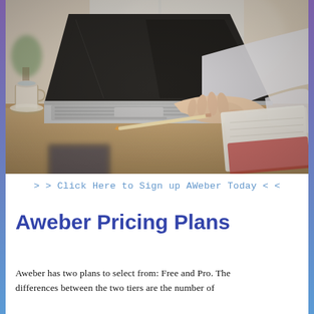[Figure (photo): Woman with blonde hair typing on a laptop at a wooden desk with a notebook, pencil, and coffee cup nearby. Bright window light in background.]
> > Click Here to Sign up AWeber Today < <
Aweber Pricing Plans
Aweber has two plans to select from: Free and Pro. The differences between the two tiers are the number of...